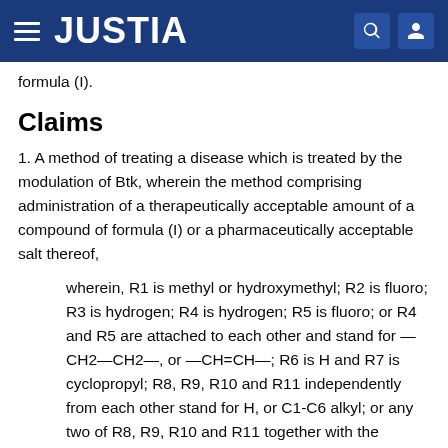JUSTIA
formula (I).
Claims
1. A method of treating a disease which is treated by the modulation of Btk, wherein the method comprising administration of a therapeutically acceptable amount of a compound of formula (I) or a pharmaceutically acceptable salt thereof,
wherein, R1 is methyl or hydroxymethyl; R2 is fluoro; R3 is hydrogen; R4 is hydrogen; R5 is fluoro; or R4 and R5 are attached to each other and stand for —CH2—CH2—, or —CH=CH—; R6 is H and R7 is cyclopropyl; R8, R9, R10 and R11 independently from each other stand for H, or C1-C6 alkyl; or any two of R8, R9, R10 and R11 together with the